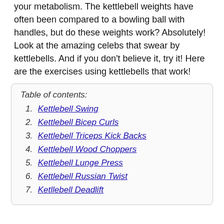your metabolism. The kettlebell weights have often been compared to a bowling ball with handles, but do these weights work? Absolutely! Look at the amazing celebs that swear by kettlebells. And if you don't believe it, try it! Here are the exercises using kettlebells that work!
Table of contents:
1. Kettlebell Swing
2. Kettlebell Bicep Curls
3. Kettlebell Triceps Kick Backs
4. Kettlebell Wood Choppers
5. Kettlebell Lunge Press
6. Kettlebell Russian Twist
7. Ketllebell Deadlift